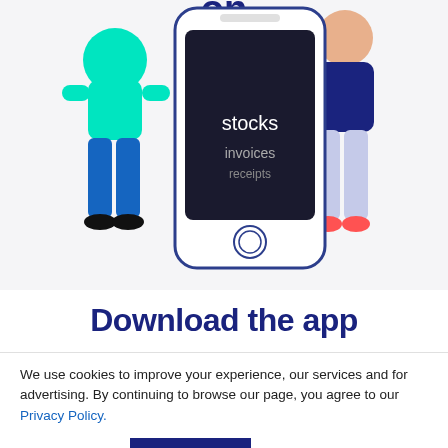[Figure (illustration): An illustration showing two cartoon figures (one on the left in blue outfit, one on the right in blue and lavender outfit) flanking a large smartphone mockup with a dark screen displaying the words 'stocks', 'invoices', 'receipts'. Part of a bold word (likely 'on') is partially visible at top center.]
Download the app
We use cookies to improve your experience, our services and for advertising. By continuing to browse our page, you agree to our Privacy Policy.
Cookie settings
ACCEPT